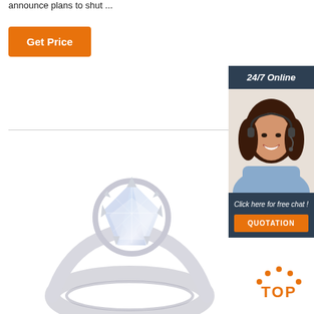announce plans to shut ...
Get Price
[Figure (photo): A diamond solitaire engagement ring with a round brilliant cut stone set in silver/white gold prongs, shown from a slightly elevated angle]
[Figure (photo): Customer service representative with headset smiling, inside a dark blue sidebar widget with '24/7 Online' header, 'Click here for free chat!' text, and orange QUOTATION button]
[Figure (infographic): Orange TOP badge with dotted arch above the word TOP in bold orange letters]